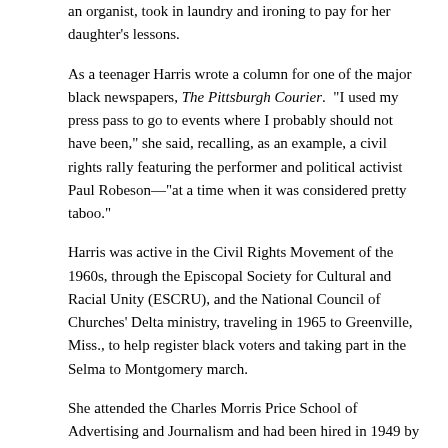an organist, took in laundry and ironing to pay for her daughter's lessons.
As a teenager Harris wrote a column for one of the major black newspapers, The Pittsburgh Courier. "I used my press pass to go to events where I probably should not have been," she said, recalling, as an example, a civil rights rally featuring the performer and political activist Paul Robeson—"at a time when it was considered pretty taboo."
Harris was active in the Civil Rights Movement of the 1960s, through the Episcopal Society for Cultural and Racial Unity (ESCRU), and the National Council of Churches' Delta ministry, traveling in 1965 to Greenville, Miss., to help register black voters and taking part in the Selma to Montgomery march.
She attended the Charles Morris Price School of Advertising and Journalism and had been hired in 1949 by Joseph V. Baker Associates Inc., a black-owned national public relations firm headquartered in Philadelphia. She was president of the firm in 1968 when she joined the Sun Company (formerly Sun Oil) as a community relations consultant. She later was named manager of community and urban affairs and headed Sun's public relations department from 1973 until becoming a senior staff consultant at Sun's corporate headquarters in 1977.